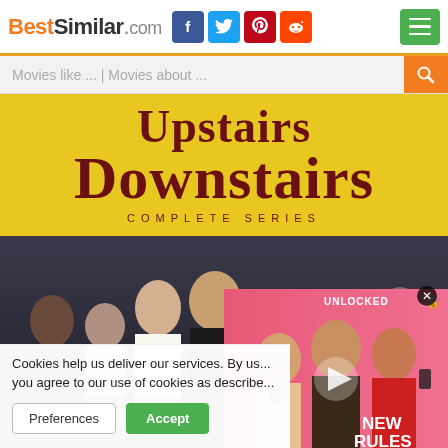BestSimilar.com
Movies like ... | Movies about ...
[Figure (screenshot): Upstairs Downstairs Complete Series title card on yellow background with decorative red serif font, and a cast photo of multiple actors below]
[Figure (photo): Advertisement overlay showing three young men, labeled UNLOCKED and NEW RULES]
Cookies help us deliver our services. By us... you agree to our use of cookies as describe...
Preferences  Accept